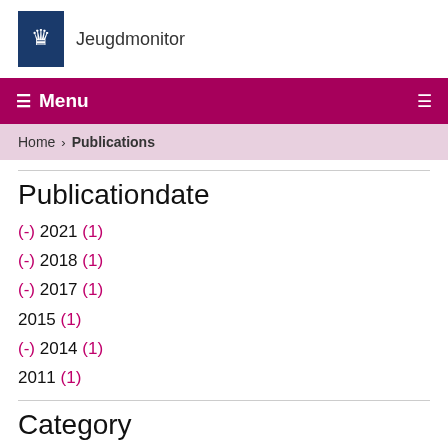Jeugdmonitor
☰ Menu
Home › Publications
Publicationdate
(-) 2021 (1)
(-) 2018 (1)
(-) 2017 (1)
2015 (1)
(-) 2014 (1)
2011 (1)
Category
Safety and justice (1)